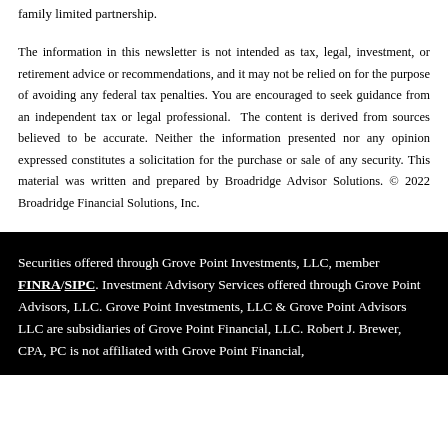family limited partnership.
The information in this newsletter is not intended as tax, legal, investment, or retirement advice or recommendations, and it may not be relied on for the purpose of avoiding any federal tax penalties. You are encouraged to seek guidance from an independent tax or legal professional. The content is derived from sources believed to be accurate. Neither the information presented nor any opinion expressed constitutes a solicitation for the purchase or sale of any security. This material was written and prepared by Broadridge Advisor Solutions. © 2022 Broadridge Financial Solutions, Inc.
Securities offered through Grove Point Investments, LLC, member FINRA/SIPC. Investment Advisory Services offered through Grove Point Advisors, LLC. Grove Point Investments, LLC & Grove Point Advisors LLC are subsidiaries of Grove Point Financial, LLC. Robert J. Brewer, CPA, PC is not affiliated with Grove Point Financial,